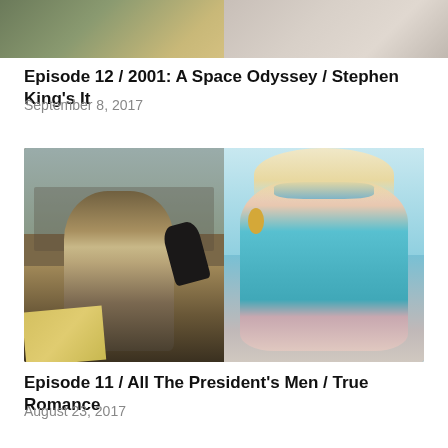[Figure (photo): Top portion of two movie stills shown side by side, partially cropped at the top of the page]
Episode 12 / 2001: A Space Odyssey / Stephen King's It
September 8, 2017
[Figure (photo): Two movie stills side by side: left shows a man on a telephone in an office setting (All The President's Men), right shows a blonde woman in sunglasses and turquoise bikini top running (True Romance)]
Episode 11 / All The President's Men / True Romance
August 23, 2017